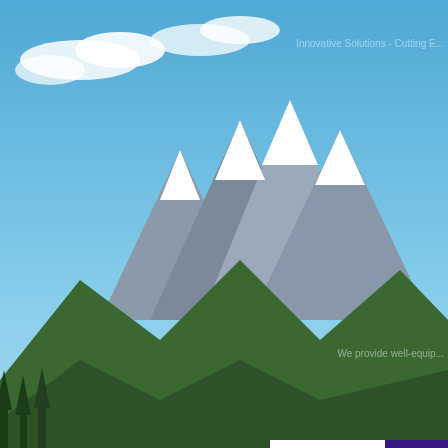[Figure (screenshot): Background landscape photo showing a mountain lake scene with blue sky, clouds, snow-capped mountains, green forest, and calm water]
[Figure (screenshot): HostPerl banner advertisement with orange-red gradient background, HostPerl logo and text 'Dedicated Hosting Solutions', and tagline 'HOSTING THAT YOU WANT TO CHOOSE']
Innovative Solutions - Cutting E...
We provide well-equip...
[Figure (screenshot): Peakerr banner advertisement with white and purple design, showing 'PEAKERR' title and 'Best SMM Panel' badge]
Best ... Best SMM Panel Peakerr ... 1k 75... instag...
»» Looking for Premium Fo...
Ups Directory .com  /  Sports  /  Water Sports  /  India Swimming
Advertisement
« The Best SMM Panel Start...
India Swimm...
Website URL: ht... #following...